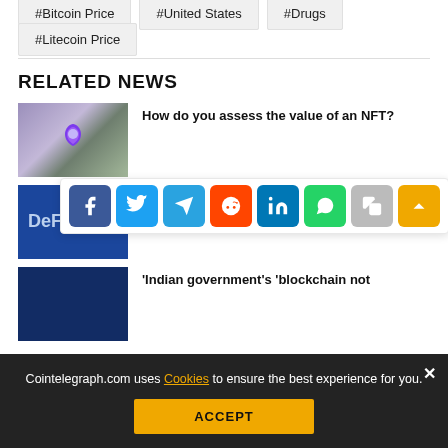#Bitcoin Price
#United States
#Drugs
#Litecoin Price
RELATED NEWS
[Figure (photo): Person holding purple flower NFT token]
How do you assess the value of an NFT?
[Figure (photo): DeFi related image with blue background]
'Give DeFi time, it may surprise you' —
[Figure (screenshot): Social share buttons: Facebook, Twitter, Telegram, Reddit, LinkedIn, WhatsApp, Copy, Up]
[Figure (photo): Indian government blockchain image]
'Indian government's 'blockchain not
Cointelegraph.com uses Cookies to ensure the best experience for you.
ACCEPT